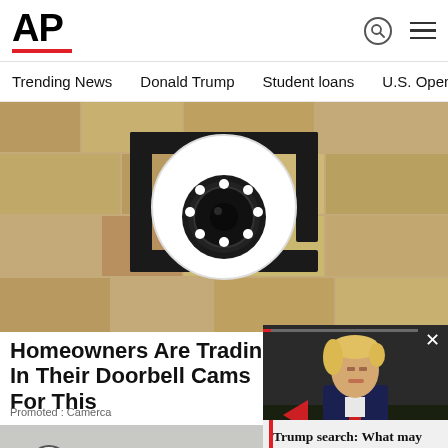AP
Trending News
Donald Trump
Student loans
U.S. Open Tenn
[Figure (photo): Close-up of a security camera mounted on a textured stone wall with black metal bracket]
Homeowners Are Trading In Their Doorbell Cams For This
Promoted : Camerca
[Figure (photo): Man with curly hair, bottom portion of second article]
[Figure (photo): Donald Trump in a suit walking, video overlay thumbnail]
Trump search: What may come next in inquiry wi...